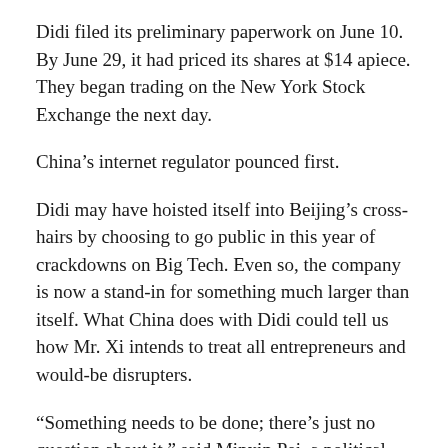Didi filed its preliminary paperwork on June 10. By June 29, it had priced its shares at $14 apiece. They began trading on the New York Stock Exchange the next day.
China’s internet regulator pounced first.
Didi may have hoisted itself into Beijing’s cross-hairs by choosing to go public in this year of crackdowns on Big Tech. Even so, the company is now a stand-in for something much larger than itself. What China does with Didi could tell us how Mr. Xi intends to treat all entrepreneurs and would-be disrupters.
“Something needs to be done; there’s just no question about it,” said Minxin Pei, a political scientist who studies China at Claremont McKenna College. But “the way they are doing it is very counterproductive.”